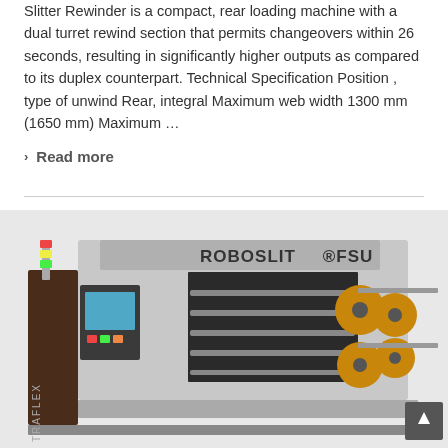Slitter Rewinder is a compact, rear loading machine with a dual turret rewind section that permits changeovers within 26 seconds, resulting in significantly higher outputs as compared to its duplex counterpart. Technical Specification Position , type of unwind Rear, integral Maximum web width 1300 mm (1650 mm) Maximum …
Read more
[Figure (photo): Photo of the ROBOSLIT FSU slitter rewinder machine, a large industrial machine with control panel on the left side showing a touchscreen interface, rollers in the center, and wound label rolls on the right side output.]